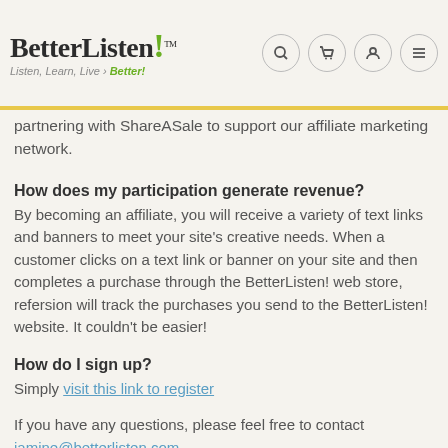BetterListen! Listen, Learn, Live › Better!
partnering with ShareASale to support our affiliate marketing network.
How does my participation generate revenue?
By becoming an affiliate, you will receive a variety of text links and banners to meet your site's creative needs. When a customer clicks on a text link or banner on your site and then completes a purchase through the BetterListen! web store, refersion will track the purchases you send to the BetterListen! website. It couldn't be easier!
How do I sign up?
Simply visit this link to register
If you have any questions, please feel free to contact jamine@betterlisten.com.